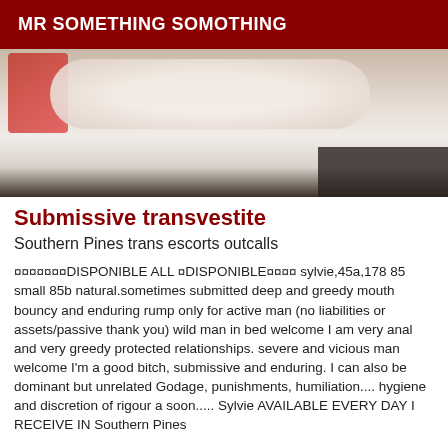MR SOMETHING SOMOTHING
[Figure (photo): Partial view of a person lying on white bedding, wearing a red top, arms visible against white sheets with dark background at bottom]
Submissive transvestite
Southern Pines trans escorts outcalls
¤¤¤¤¤¤¤DISPONIBLE ALL ¤DISPONIBLE¤¤¤¤ sylvie,45a,178 85 small 85b natural.sometimes submitted deep and greedy mouth bouncy and enduring rump only for active man (no liabilities or assets/passive thank you) wild man in bed welcome I am very anal and very greedy protected relationships. severe and vicious man welcome I'm a good bitch, submissive and enduring. I can also be dominant but unrelated Godage, punishments, humiliation.... hygiene and discretion of rigour a soon..... Sylvie AVAILABLE EVERY DAY I RECEIVE IN Southern Pines